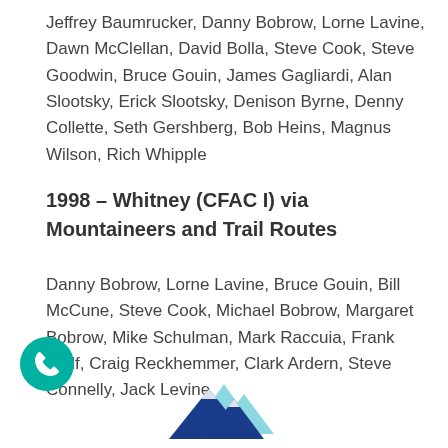Jeffrey Baumrucker, Danny Bobrow, Lorne Lavine, Dawn McClellan, David Bolla, Steve Cook, Steve Goodwin, Bruce Gouin, James Gagliardi, Alan Slootsky, Erick Slootsky, Denison Byrne, Denny Collette, Seth Gershberg, Bob Heins, Magnus Wilson, Rich Whipple
1998 – Whitney (CFAC I) via Mountaineers and Trail Routes
Danny Bobrow, Lorne Lavine, Bruce Gouin, Bill McCune, Steve Cook, Michael Bobrow, Margaret Bobrow, Mike Schulman, Mark Raccuia, Frank Wolf, Craig Reckhemmer, Clark Ardern, Steve Connelly, Jack Levine
[Figure (logo): Mountain logo with blue and teal peaks]